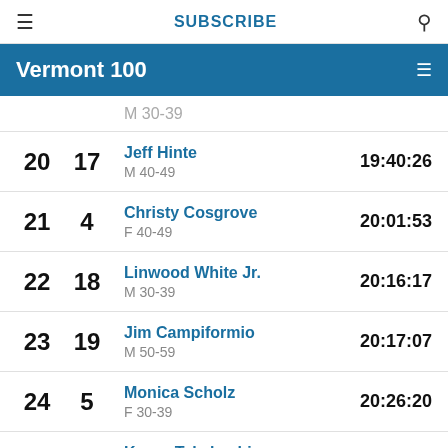SUBSCRIBE
Vermont 100
19 M 30-39 (partial row cut off at top)
20  17  Jeff Hinte  M 40-49  19:40:26
21  4  Christy Cosgrove  F 40-49  20:01:53
22  18  Linwood White Jr.  M 30-39  20:16:17
23  19  Jim Campiformio  M 50-59  20:17:07
24  5  Monica Scholz  F 30-39  20:26:20
25  20  Kaoru Takahashi  M 30-39  20:30:19